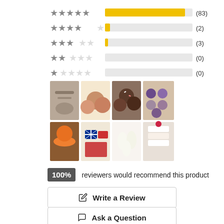[Figure (bar-chart): Star rating distribution]
[Figure (photo): Grid of 8 product review photos showing various baked goods and confections]
100% reviewers would recommend this product
Write a Review
Ask a Question